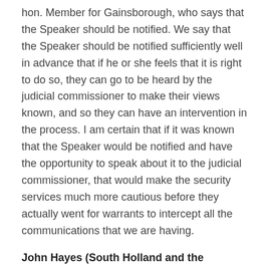hon. Member for Gainsborough, who says that the Speaker should be notified. We say that the Speaker should be notified sufficiently well in advance that if he or she feels that it is right to do so, they can go to be heard by the judicial commissioner to make their views known, and so they can have an intervention in the process. I am certain that if it was known that the Speaker would be notified and have the opportunity to speak about it to the judicial commissioner, that would make the security services much more cautious before they actually went for warrants to intercept all the communications that we are having.
John Hayes (South Holland and the Deepings) (Con)